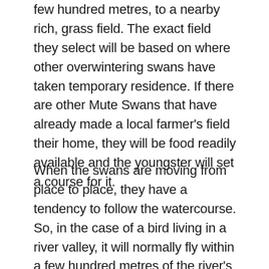few hundred metres, to a nearby rich, grass field. The exact field they select will be based on where other overwintering swans have taken temporary residence. If there are other Mute Swans that have already made a local farmer's field their home, they will be food readily available and the youngster will set a course for it.
When the swans are moving from place to place, they have a tendency to follow the watercourse. So, in the case of a bird living in a river valley, it will normally fly within a few hundred metres of the river's banks and be on the lookout for suitable